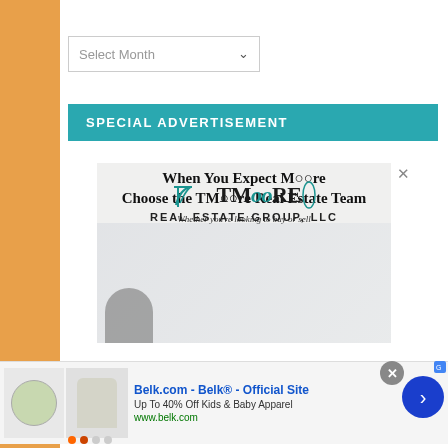Select Month
SPECIAL ADVERTISEMENT
[Figure (logo): TMoore Real Estate Group, LLC advertisement. Shows the TMoore logo with teal script and text, tagline 'Real Estate Group, LLC', 'When You Expect MOore Choose the TMOore Real Estate Team', and italic text 'Whether you're looking to buy or sell']
[Figure (infographic): Bottom banner advertisement for Belk.com - Belk Official Site. Shows product images (shirt with circle logo, hoodie), text 'Belk.com - Belk - Official Site', 'Up To 40% Off Kids & Baby Apparel', 'www.belk.com', close button, and blue next arrow button.]